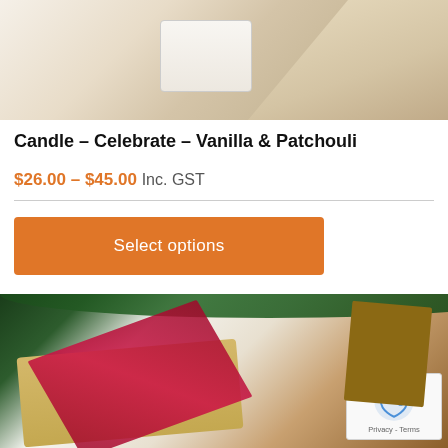[Figure (photo): Product photo of a candle with cream/linen fabric background]
Candle – Celebrate – Vanilla & Patchouli
$26.00 – $45.00 Inc. GST
Select options
[Figure (photo): Gift hamper with Moët & Chandon champagne, chocolates, tied with a magenta ribbon, surrounded by pine cones, red berries, and greenery]